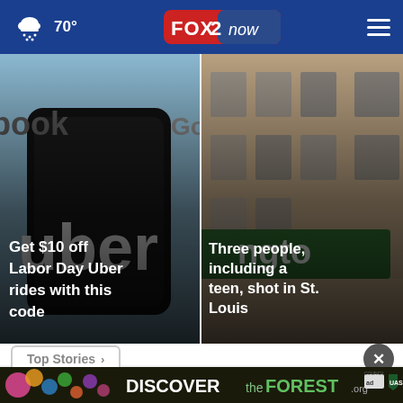70° FOX 2 now
[Figure (photo): Uber app displayed on a smartphone screen with dark background]
Get $10 off Labor Day Uber rides with this code
[Figure (photo): Street corner with green street sign in St. Louis and building facade]
Three people, including a teen, shot in St. Louis
Top Stories >
[Figure (photo): DISCOVERtheFOREST.org advertisement banner with ad council logo]